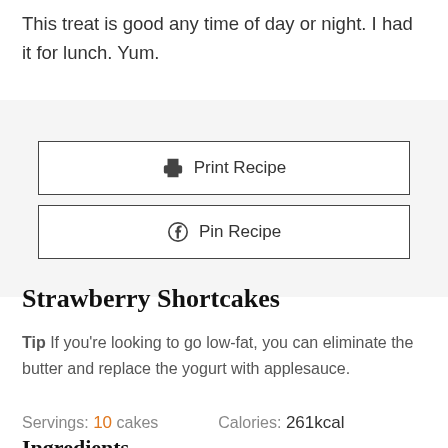This treat is good any time of day or night. I had it for lunch. Yum.
[Figure (other): Two buttons: 'Print Recipe' with a printer icon, and 'Pin Recipe' with a Pinterest icon, on a gray background]
Strawberry Shortcakes
Tip If you're looking to go low-fat, you can eliminate the butter and replace the yogurt with applesauce.
Servings: 10 cakes   Calories: 261kcal
Ingredients